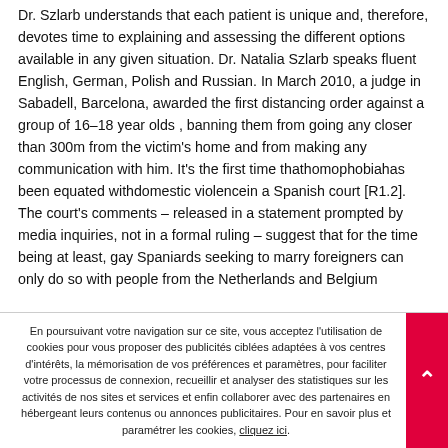Dr. Szlarb understands that each patient is unique and, therefore, devotes time to explaining and assessing the different options available in any given situation. Dr. Natalia Szlarb speaks fluent English, German, Polish and Russian. In March 2010, a judge in Sabadell, Barcelona, awarded the first distancing order against a group of 16–18 year olds , banning them from going any closer than 300m from the victim's home and from making any communication with him. It's the first time thathomophobiahas been equated withdomestic violencein a Spanish court [R1.2]. The court's comments – released in a statement prompted by media inquiries, not in a formal ruling – suggest that for the time being at least, gay Spaniards seeking to marry foreigners can only do so with people from the Netherlands and Belgium
En poursuivant votre navigation sur ce site, vous acceptez l'utilisation de cookies pour vous proposer des publicités ciblées adaptées à vos centres d'intérêts, la mémorisation de vos préférences et paramètres, pour faciliter votre processus de connexion, recueillir et analyser des statistiques sur les activités de nos sites et services et enfin collaborer avec des partenaires en hébergeant leurs contenus ou annonces publicitaires. Pour en savoir plus et paramétrer les cookies, cliquez ici.